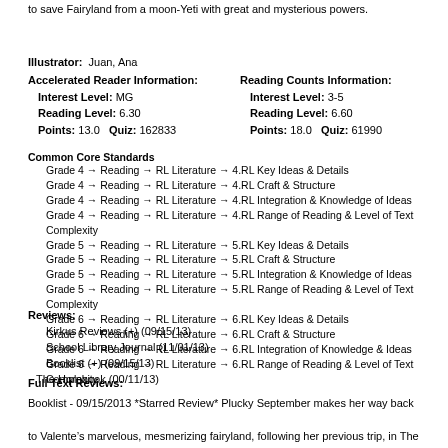to save Fairyland from a moon-Yeti with great and mysterious powers.
Illustrator:  Juan, Ana
Accelerated Reader Information:
  Interest Level: MG
  Reading Level: 6.30
  Points: 13.0   Quiz: 162833
Reading Counts Information:
  Interest Level: 3-5
  Reading Level: 6.60
  Points: 18.0   Quiz: 61990
Common Core Standards
Grade 4 → Reading → RL Literature → 4.RL Key Ideas & Details
Grade 4 → Reading → RL Literature → 4.RL Craft & Structure
Grade 4 → Reading → RL Literature → 4.RL Integration & Knowledge of Ideas
Grade 4 → Reading → RL Literature → 4.RL Range of Reading & Level of Text Complexity
Grade 5 → Reading → RL Literature → 5.RL Key Ideas & Details
Grade 5 → Reading → RL Literature → 5.RL Craft & Structure
Grade 5 → Reading → RL Literature → 5.RL Integration & Knowledge of Ideas
Grade 5 → Reading → RL Literature → 5.RL Range of Reading & Level of Text Complexity
Grade 6 → Reading → RL Literature → 6.RL Key Ideas & Details
Grade 6 → Reading → RL Literature → 6.RL Craft & Structure
Grade 6 → Reading → RL Literature → 6.RL Integration of Knowledge & Ideas
Grade 6 → Reading → RL Literature → 6.RL Range of Reading & Level of Text Complexity
Reviews:
Kirkus Reviews (+) (09/15/13)
School Library Journal (11/01/13)
Booklist (+) (09/15/13)
The Hornbook (00/11/13)
Full Text Reviews:
Booklist - 09/15/2013 *Starred Review* Plucky September makes her way back to Valente’s marvelous, mesmerizing fairyland, following her previous trip, in The Girl Who Fell beneath Fairyland and Led the Revels There (2012). But this time,